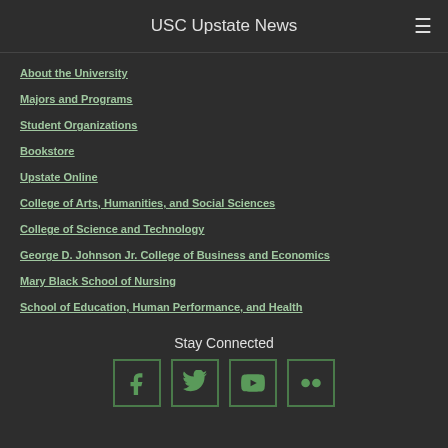USC Upstate News
About the University
Majors and Programs
Student Organizations
Bookstore
Upstate Online
College of Arts, Humanities, and Social Sciences
College of Science and Technology
George D. Johnson Jr. College of Business and Economics
Mary Black School of Nursing
School of Education, Human Performance, and Health
Stay Connected
[Figure (infographic): Social media icons for Facebook, Twitter, YouTube, and Flickr with green borders]